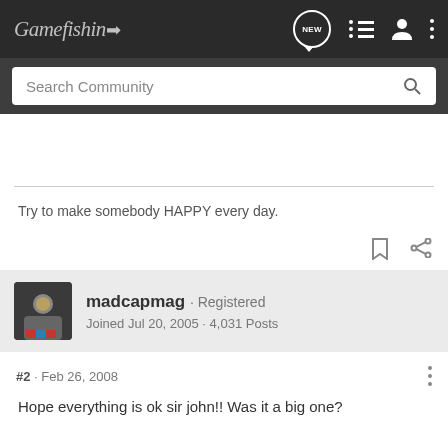Gamefishin
Search Community
Try to make somebody HAPPY every day.
madcapmag · Registered
Joined Jul 20, 2005 · 4,031 Posts
#2 · Feb 26, 2008
Hope everything is ok sir john!! Was it a big one?